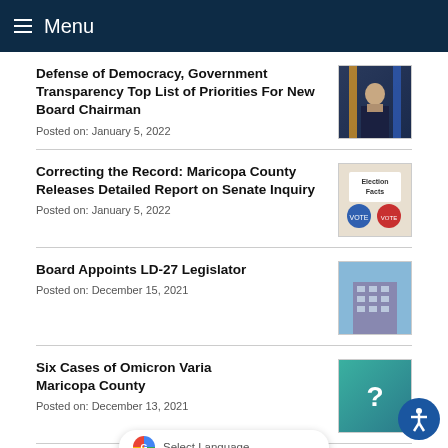Menu
Defense of Democracy, Government Transparency Top List of Priorities For New Board Chairman
Posted on: January 5, 2022
[Figure (photo): Photo of a man in a suit standing in front of flags]
Correcting the Record: Maricopa County Releases Detailed Report on Senate Inquiry
Posted on: January 5, 2022
[Figure (photo): Election Facts graphic with voting stickers]
Board Appoints LD-27 Legislator
Posted on: December 15, 2021
[Figure (photo): Photo of a government building exterior]
Six Cases of Omicron Variant Confirmed in Maricopa County
Posted on: December 13, 2021
[Figure (photo): Teal graphic with question mark icon]